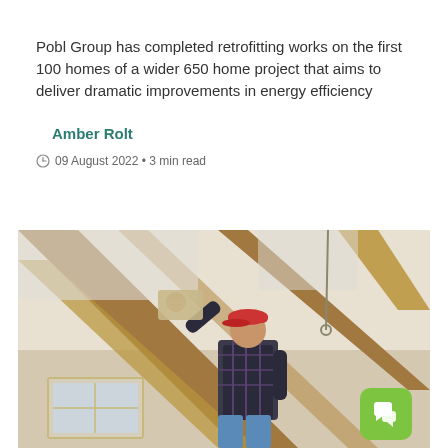Pobl Group has completed retrofitting works on the first 100 homes of a wider 650 home project that aims to deliver dramatic improvements in energy efficiency
Amber Rolt
09 August 2022 • 3 min read
[Figure (photo): A worker in a red cap and plaid shirt installing insulation material between wooden roof beams in an attic space, photographed from below looking up at the rafters and skylight windows.]